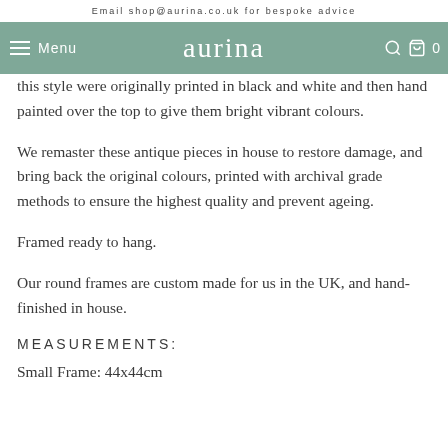Email shop@aurina.co.uk for bespoke advice
this style were originally printed in black and white and then hand painted over the top to give them bright vibrant colours.
We remaster these antique pieces in house to restore damage, and bring back the original colours, printed with archival grade methods to ensure the highest quality and prevent ageing.
Framed ready to hang.
Our round frames are custom made for us in the UK, and hand-finished in house.
MEASUREMENTS:
Small Frame: 44x44cm